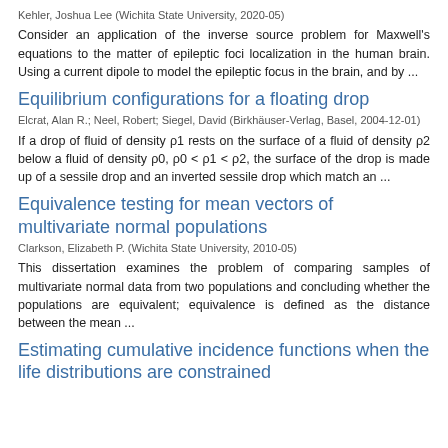Kehler, Joshua Lee (Wichita State University, 2020-05)
Consider an application of the inverse source problem for Maxwell's equations to the matter of epileptic foci localization in the human brain. Using a current dipole to model the epileptic focus in the brain, and by ...
Equilibrium configurations for a floating drop
Elcrat, Alan R.; Neel, Robert; Siegel, David (Birkhäuser-Verlag, Basel, 2004-12-01)
If a drop of fluid of density ρ1 rests on the surface of a fluid of density ρ2 below a fluid of density ρ0, ρ0 < ρ1 < ρ2, the surface of the drop is made up of a sessile drop and an inverted sessile drop which match an ...
Equivalence testing for mean vectors of multivariate normal populations
Clarkson, Elizabeth P. (Wichita State University, 2010-05)
This dissertation examines the problem of comparing samples of multivariate normal data from two populations and concluding whether the populations are equivalent; equivalence is defined as the distance between the mean ...
Estimating cumulative incidence functions when the life distributions are constrained